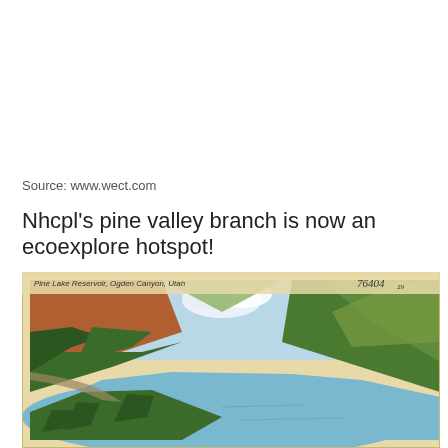Source: www.wect.com
Nhcpl's pine valley branch is now an ecoexplore hotspot!
[Figure (illustration): Vintage postcard illustration of Pine Lake Reservoir, Ogden Canyon, Utah. Shows a mountain canyon with steep rocky and forested slopes on both sides, a blue reservoir/lake in the center foreground curving into the distance, with a road along the left side and clouds visible between the mountains in the background. The postcard is cream/tan colored with a caption 'Pine Lake Reservoir, Ogden Canyon, Utah' in the upper left and handwritten number '76404' in the upper right.]